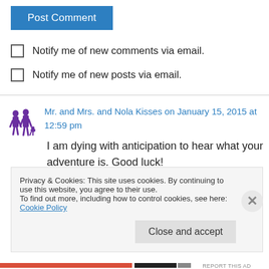Post Comment
Notify me of new comments via email.
Notify me of new posts via email.
Mr. and Mrs. and Nola Kisses on January 15, 2015 at 12:59 pm
I am dying with anticipation to hear what your adventure is. Good luck!
Privacy & Cookies: This site uses cookies. By continuing to use this website, you agree to their use.
To find out more, including how to control cookies, see here: Cookie Policy
Close and accept